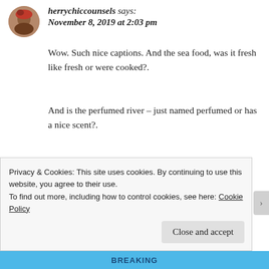herrychiccounsels says: November 8, 2019 at 2:03 pm
Wow. Such nice captions. And the sea food, was it fresh like fresh or were cooked?.
And is the perfumed river – just named perfumed or has a nice scent?.
Liked by 2 people
Reply
Privacy & Cookies: This site uses cookies. By continuing to use this website, you agree to their use.
To find out more, including how to control cookies, see here: Cookie Policy
Close and accept